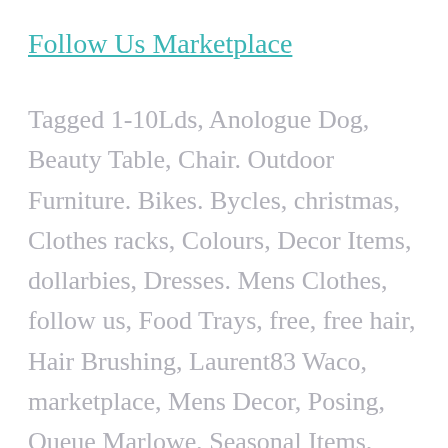Follow Us Marketplace
Tagged 1-10Lds, Anologue Dog, Beauty Table, Chair. Outdoor Furniture. Bikes. Bycles, christmas, Clothes racks, Colours, Decor Items, dollarbies, Dresses. Mens Clothes, follow us, Food Trays, free, free hair, Hair Brushing, Laurent83 Waco, marketplace, Mens Decor, Posing, Queue Marlowe, Seasonal Items, second life, SecondLife, SL, Smooth Aos, Trays,